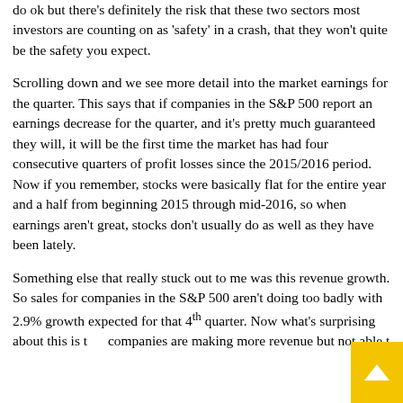do ok but there's definitely the risk that these two sectors most investors are counting on as 'safety' in a crash, that they won't quite be the safety you expect.
Scrolling down and we see more detail into the market earnings for the quarter. This says that if companies in the S&P 500 report an earnings decrease for the quarter, and it's pretty much guaranteed they will, it will be the first time the market has had four consecutive quarters of profit losses since the 2015/2016 period. Now if you remember, stocks were basically flat for the entire year and a half from beginning 2015 through mid-2016, so when earnings aren't great, stocks don't usually do as well as they have been lately.
Something else that really stuck out to me was this revenue growth. So sales for companies in the S&P 500 aren't doing too badly with 2.9% growth expected for that 4th quarter. Now what's surprising about this is that companies are making more revenue but not able t...